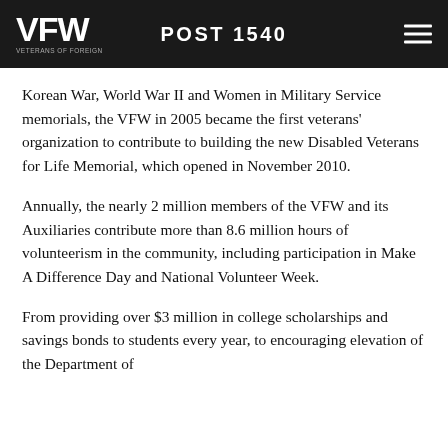POST 1540
Korean War, World War II and Women in Military Service memorials, the VFW in 2005 became the first veterans' organization to contribute to building the new Disabled Veterans for Life Memorial, which opened in November 2010.
Annually, the nearly 2 million members of the VFW and its Auxiliaries contribute more than 8.6 million hours of volunteerism in the community, including participation in Make A Difference Day and National Volunteer Week.
From providing over $3 million in college scholarships and savings bonds to students every year, to encouraging elevation of the Department of